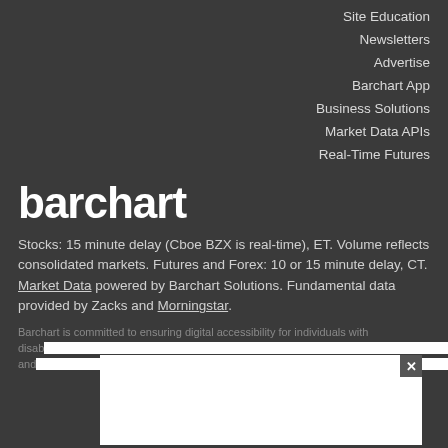Site Education
Newsletters
Advertise
Barchart App
Business Solutions
Market Data APIs
Real-Time Futures
[Figure (logo): Barchart logo in white bold text on dark background]
Stocks: 15 minute delay (Cboe BZX is real-time), ET. Volume reflects consolidated markets. Futures and Forex: 10 or 15 minute delay, CT. Market Data powered by Barchart Solutions. Fundamental data provided by Zacks and Morningstar.
Barchart is committed to ensuring digital accessibility for individuals with disab[...] ence, and[...] ion